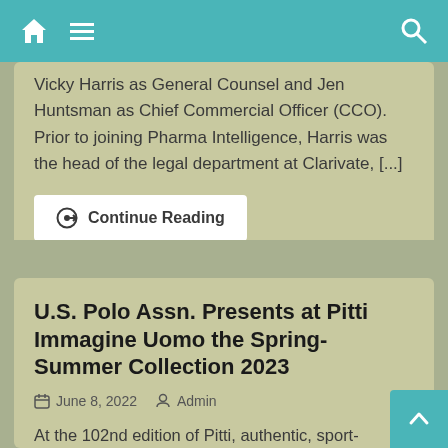Navigation bar with home, menu, and search icons
Vicky Harris as General Counsel and Jen Huntsman as Chief Commercial Officer (CCO). Prior to joining Pharma Intelligence, Harris was the head of the legal department at Clarivate, [...]
Continue Reading
U.S. Polo Assn. Presents at Pitti Immagine Uomo the Spring-Summer Collection 2023
June 8, 2022   Admin
At the 102nd edition of Pitti, authentic, sport-inspired style and bursts of color make the U.S. Polo Assn. brand's Collection fresh and exciting. FLORENCE, Italy, June 08, 2022 (GLOBE NEWSWIRE) — U.S. Polo Assn., the official brand of the United